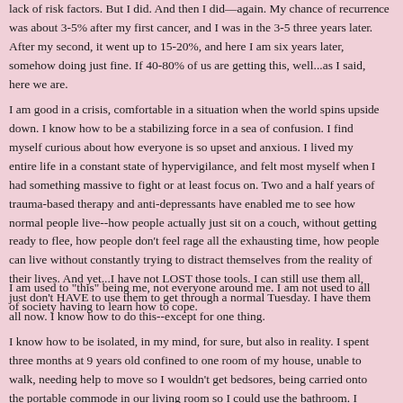lack of risk factors. But I did. And then I did—again. My chance of recurrence was about 3-5% after my first cancer, and I was in the 3-5 three years later. After my second, it went up to 15-20%, and here I am six years later, somehow doing just fine. If 40-80% of us are getting this, well...as I said, here we are.
I am good in a crisis, comfortable in a situation when the world spins upside down. I know how to be a stabilizing force in a sea of confusion. I find myself curious about how everyone is so upset and anxious. I lived my entire life in a constant state of hypervigilance, and felt most myself when I had something massive to fight or at least focus on. Two and a half years of trauma-based therapy and anti-depressants have enabled me to see how normal people live--how people actually just sit on a couch, without getting ready to flee, how people don't feel rage all the exhausting time, how people can live without constantly trying to distract themselves from the reality of their lives. And yet...I have not LOST those tools. I can still use them all, I just don't HAVE to use them to get through a normal Tuesday. I have them all now. I know how to do this--except for one thing.
I am used to "this" being me, not everyone around me. I am not used to all of society having to learn how to cope.
I know how to be isolated, in my mind, for sure, but also in reality. I spent three months at 9 years old confined to one room of my house, unable to walk, needing help to move so I wouldn't get bedsores, being carried onto the portable commode in our living room so I could use the bathroom. I missed half of fourth grade because no law guaranteed me an education in 1984. I didn't see friends, and there was no technology to keep me connected to anyone. I was on bedrest for the last month of my first pregnancy, living alone, with a husband who worked hours away and a directive not to drive. I became heavily socially isolated by cancer, lost...